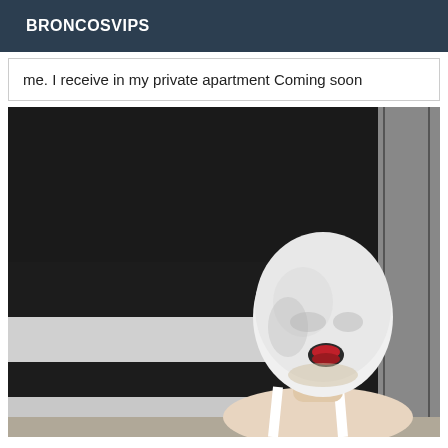BRONCOSVIPS
me. I receive in my private apartment Coming soon
[Figure (photo): A person wearing a white full-face mask/balaclava with an opening at the mouth showing red lips, wearing a white top, standing in front of a wall with black and white horizontal stripes. The upper portion of the image is mostly dark/black.]